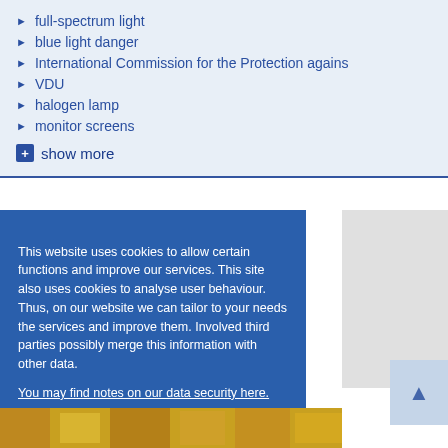full-spectrum light
blue light danger
International Commission for the Protection agains
VDU
halogen lamp
monitor screens
show more
This website uses cookies to allow certain functions and improve our services. This site also uses cookies to analyse user behaviour. Thus, on our website we can tailor to your needs the services and improve them. Involved third parties possibly merge this information with other data.
You may find notes on our data security here.
Do not allow cookies
I'm OK with that